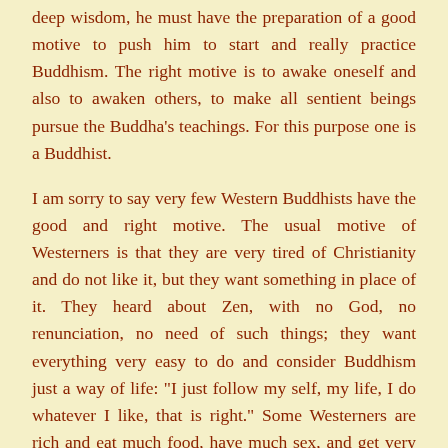deep wisdom, he must have the preparation of a good motive to push him to start and really practice Buddhism. The right motive is to awake oneself and also to awaken others, to make all sentient beings pursue the Buddha's teachings. For this purpose one is a Buddhist.
I am sorry to say very few Western Buddhists have the good and right motive. The usual motive of Westerners is that they are very tired of Christianity and do not like it, but they want something in place of it. They heard about Zen, with no God, no renunciation, no need of such things; they want everything very easy to do and consider Buddhism just a way of life: "I just follow my self, my life, I do whatever I like, that is right." Some Westerners are rich and eat much food, have much sex, and get very tired so they want to repair themselves and recover to become stronger, to enable themselves to consume more and more food, wine, sex, and amusement. This kind of person will only reduce their greed.